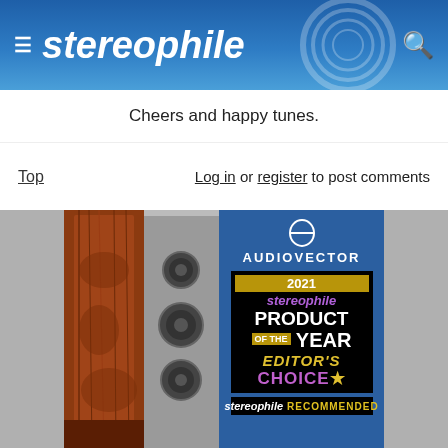stereophile
Cheers and happy tunes.
Top   Log in or register to post comments
[Figure (photo): Audiovector speaker advertisement with Stereophile 2021 Product of the Year Editor's Choice award badge and Stereophile Recommended badge]